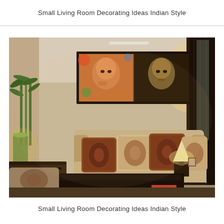Small Living Room Decorating Ideas Indian Style
[Figure (photo): An Indian-style small living room featuring a beige sofa with dark brown patterned cushions, bamboo plant on the left with a glowing lamp, two Buddha paintings in a black frame on the wall, a white table lamp on a side table, dark wood coffee table in the foreground, and dark curtains on the right.]
Small Living Room Decorating Ideas Indian Style